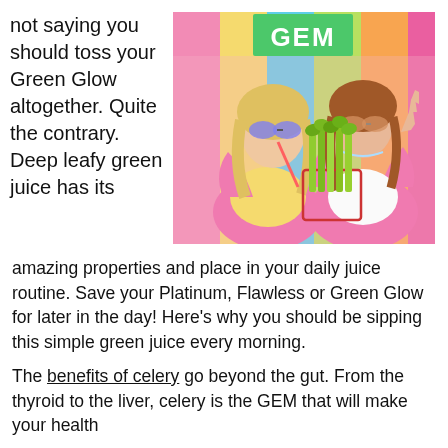not saying you should toss your Green Glow altogether. Quite the contrary. Deep leafy green juice has its
[Figure (photo): Two women in bright pink cardigans and yellow shirts wearing sunglasses, posing in front of a colorful striped background with a green GEM sign. One holds a basket of celery stalks.]
amazing properties and place in your daily juice routine. Save your Platinum, Flawless or Green Glow for later in the day! Here's why you should be sipping this simple green juice every morning.
The benefits of celery go beyond the gut. From the thyroid to the liver, celery is the GEM that will make your health